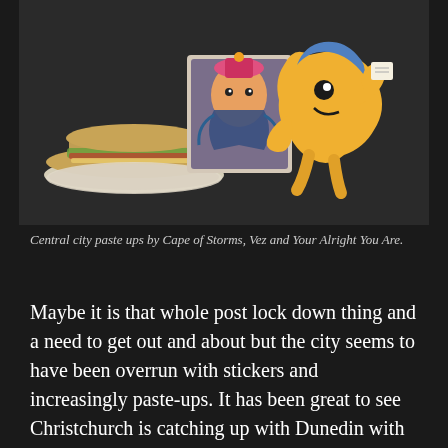[Figure (photo): A dark-background photo showing three sticker/paste-up artworks on a surface: a sandwich on a plate (left), a colorful character with a hat (center), and a yellow cartoon creature with blue hair holding something (right).]
Central city paste ups by Cape of Storms, Vez and Your Alright You Are.
Maybe it is that whole post lock down thing and a need to get out and about but the city seems to have been overrun with stickers and increasingly paste-ups. It has been great to see Christchurch is catching up with Dunedin with